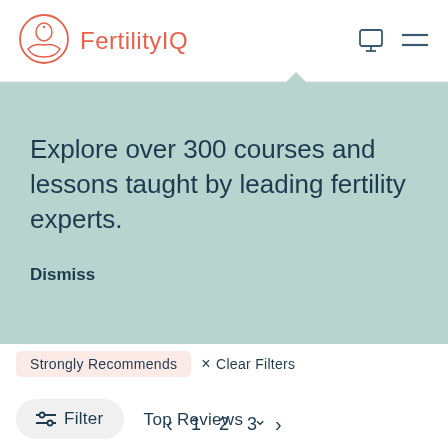[Figure (logo): FertilityIQ logo with circular emblem showing a hand cradling a face, in salmon/coral color, with text 'FertilityIQ' in coral]
Explore over 300 courses and lessons taught by leading fertility experts.
Dismiss
Strongly Recommends
× Clear Filters
Filter
Top Reviews ∨
‹  1  2  3  ›